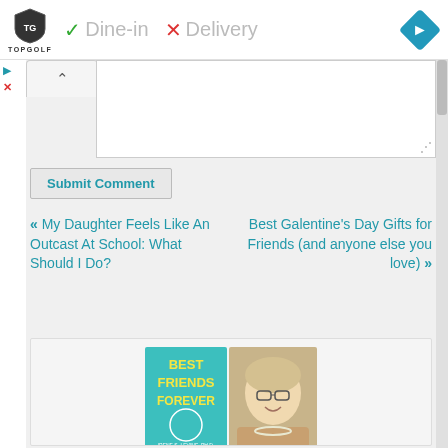[Figure (screenshot): Topgolf logo with shield icon and text TOPGOLF, alongside Dine-in checkmark and Delivery X mark, and blue navigation diamond icon]
[Figure (screenshot): Website UI with collapse tab (caret up), comment text area, Submit Comment button, previous/next navigation links, and bottom promo box with Best Friends Forever book cover and author photo with sage and savvy advice text]
Submit Comment
« My Daughter Feels Like An Outcast At School: What Should I Do?
Best Galentine's Day Gifts for Friends (and anyone else you love) »
[Figure (photo): Best Friends Forever book cover (teal/cyan with yellow text) and headshot of smiling blonde woman with glasses wearing tan jacket and pearl necklace]
sage & savvy advice